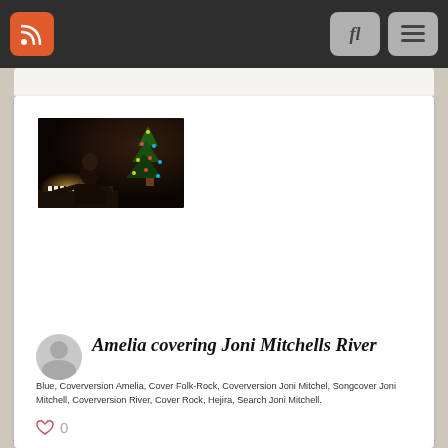RSS feed navigation bar with RSS button, search button, and menu button
[Figure (photo): Video thumbnail of a person playing piano in a dark room with Christmas tree lights in background]
Amelia covering Joni Mitchells River
Blue, Coverversion Amelia, Cover Folk-Rock, Coverversion Joni Mitchel, Songcover Joni Mitchell, Coverversion River, Cover Rock, Hejira, Search Joni Mitchell.
0